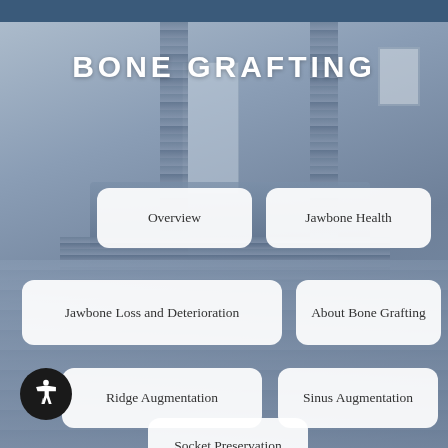[Figure (photo): Blue-tinted interior photo of a medical/dental office reception area with tiled columns and a front desk counter serving as background]
BONE GRAFTING
Overview
Jawbone Health
Jawbone Loss and Deterioration
About Bone Grafting
Ridge Augmentation
Sinus Augmentation
Socket Preservation